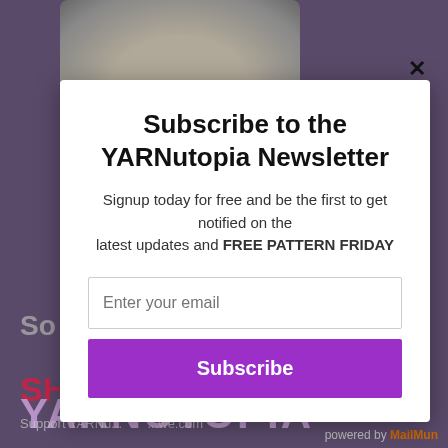[Figure (screenshot): Background of a website with a dark purple overlay, a crocheted stuffed animal at the top, partial text 'So', 'SH', 'YARNUTOPIA', and 'Support YARNu...' visible behind the modal popup. Bottom right shows 'powered by MailMun...']
Subscribe to the YARNutopia Newsletter
Signup today for free and be the first to get notified on the latest updates and FREE PATTERN FRIDAY
Enter your email
Subscribe